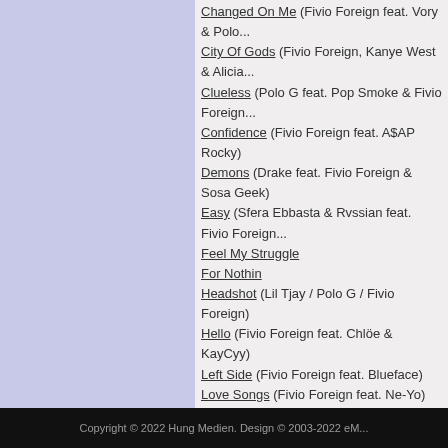Changed On Me (Fivio Foreign feat. Vory & Polo...
City Of Gods (Fivio Foreign, Kanye West & Alicia...
Clueless (Polo G feat. Pop Smoke & Fivio Foreign...
Confidence (Fivio Foreign feat. A$AP Rocky)
Demons (Drake feat. Fivio Foreign & Sosa Geek)
Easy (Sfera Ebbasta & Rvssian feat. Fivio Foreign...
Feel My Struggle
For Nothin
Headshot (Lil Tjay / Polo G / Fivio Foreign)
Hello (Fivio Foreign feat. Chlöe & KayCyy)
Left Side (Fivio Foreign feat. Blueface)
Love Songs (Fivio Foreign feat. Ne-Yo)
Magic City (Fivio Foreign feat. Quavo)
Move Like A Boss (Fivio Foreign feat. Young MA)
Order by year
Add a song
ALBUMS BY FIVIO FOREIGN
B.I.B.L.E.
Add an album
REVIEWS
Average points: 4 (Reviews: 1)
14.02.2022 11:08
clublover
Member
****
Okay
Add a review
Copyright © 2022 Hung Medien. Design © 2003-2022 eM...